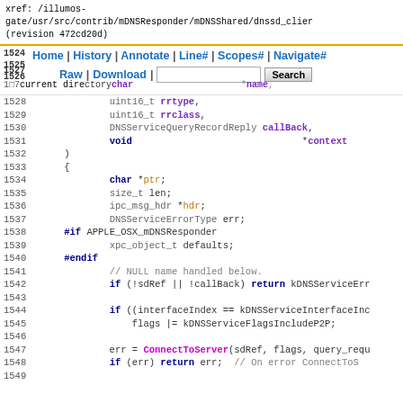xref: /illumos-gate/usr/src/contrib/mDNSResponder/mDNSShared/dnssd_clien (revision 472cd20d)
[Figure (screenshot): Navigation bar with Home, History, Annotate, Line#, Scopes#, Navigate#, Raw, Download links and a Search box]
Code listing lines 1524-1548 of dnssd_clientstub.c showing C source code with function parameters and body including variable declarations, preprocessor directives, and function calls